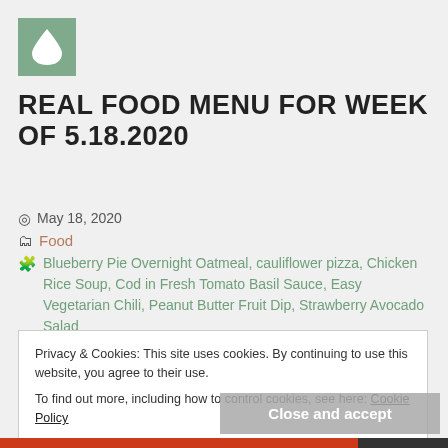[Figure (logo): Sage green square with white water drop icon]
REAL FOOD MENU FOR WEEK OF 5.18.2020
May 18, 2020
Food
Blueberry Pie Overnight Oatmeal, cauliflower pizza, Chicken Rice Soup, Cod in Fresh Tomato Basil Sauce, Easy Vegetarian Chili, Peanut Butter Fruit Dip, Strawberry Avocado Salad
Privacy & Cookies: This site uses cookies. By continuing to use this website, you agree to their use.
To find out more, including how to control cookies, see here: Cookie Policy